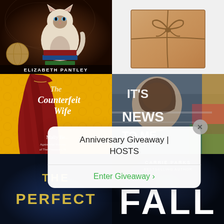[Figure (illustration): Book cover: cat sitting on dark background with globe and decorative items, author name ELIZABETH PANTLEY at bottom]
[Figure (photo): Kraft paper wrapped package tied with twine bow on white background]
[Figure (illustration): Book cover: The Counterfeit Wife by Mally Becker, woman in red dress on yellow ornate background]
[Figure (illustration): Book cover: IT'S NEWS TO ME, distorted face/glitch art cover]
Anniversary Giveaway | HOSTS
Enter Giveaway
[Figure (illustration): Book cover: THE PERFECT, dark blue background with yellow title text]
[Figure (illustration): Book cover: FALL by Carrie Parks, Bestselling Author, dark blue background]